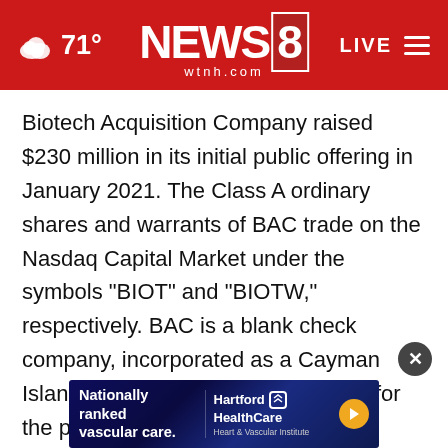71° NEWS8 wtnh.com LIVE
Biotech Acquisition Company raised $230 million in its initial public offering in January 2021. The Class A ordinary shares and warrants of BAC trade on the Nasdaq Capital Market under the symbols "BIOT" and "BIOTW," respectively. BAC is a blank check company, incorporated as a Cayman Islands exempted company, formed for the purpose of effecting a merger, amalgamation, share exchange, asset acquisition, or other similar business combination with one or more businesses.
[Figure (screenshot): Hartford HealthCare advertisement banner: 'Nationally ranked vascular care.' with Hartford HealthCare Heart & Vascular Institute logo and play button]